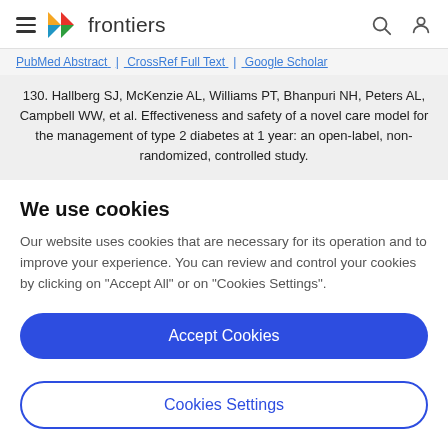frontiers
PubMed Abstract | CrossRef Full Text | Google Scholar
130. Hallberg SJ, McKenzie AL, Williams PT, Bhanpuri NH, Peters AL, Campbell WW, et al. Effectiveness and safety of a novel care model for the management of type 2 diabetes at 1 year: an open-label, non-randomized, controlled study.
We use cookies
Our website uses cookies that are necessary for its operation and to improve your experience. You can review and control your cookies by clicking on "Accept All" or on "Cookies Settings".
Accept Cookies
Cookies Settings